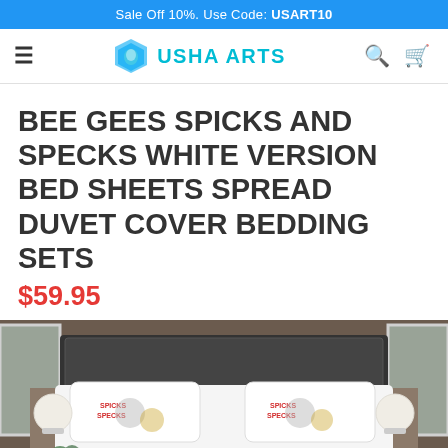Sale Off 10%. Use Code: USART10
[Figure (logo): Usha Arts logo with hexagon icon and teal text reading USHA ARTS, hamburger menu on left, search and cart icons on right]
BEE GEES SPICKS AND SPECKS WHITE VERSION BED SHEETS SPREAD DUVET COVER BEDDING SETS
$59.95
[Figure (photo): Bedroom scene showing a bed with Bee Gees Spicks and Specks themed pillowcases and bedding, two white cylindrical lamps on either side, dark headboard, window in background]